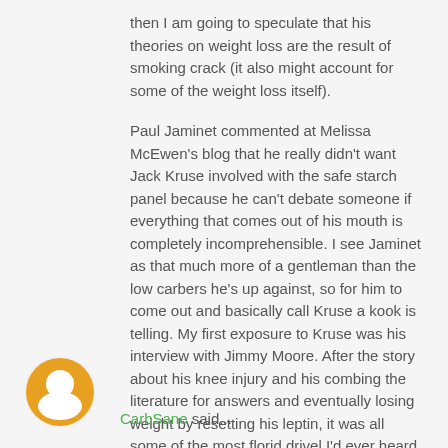...then I am going to speculate that his theories on weight loss are the result of smoking crack (it also might account for some of the weight loss itself).
Paul Jaminet commented at Melissa McEwen's blog that he really didn't want Jack Kruse involved with the safe starch panel because he can't debate someone if everything that comes out of his mouth is completely incomprehensible. I see Jaminet as that much more of a gentleman than the low carbers he's up against, so for him to come out and basically call Kruse a kook is telling. My first exposure to Kruse was his interview with Jimmy Moore. After the story about his knee injury and his combing the literature for answers and eventually losing weight by resetting his leptin, it was all some of the most florid drivel I'd ever heard.
February 21, 2012 at 11:37 PM
CarbSane said...